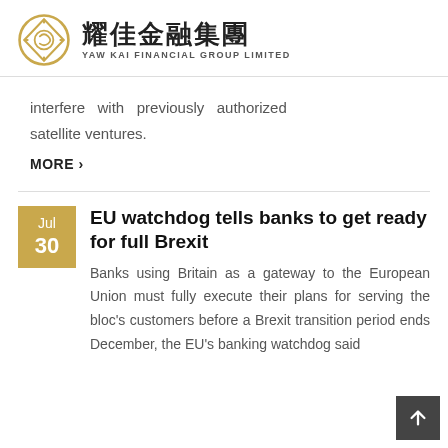耀佳金融集團 YAW KAI FINANCIAL GROUP LIMITED
interfere with previously authorized satellite ventures.
MORE ›
EU watchdog tells banks to get ready for full Brexit
Banks using Britain as a gateway to the European Union must fully execute their plans for serving the bloc's customers before a Brexit transition period ends December, the EU's banking watchdog said